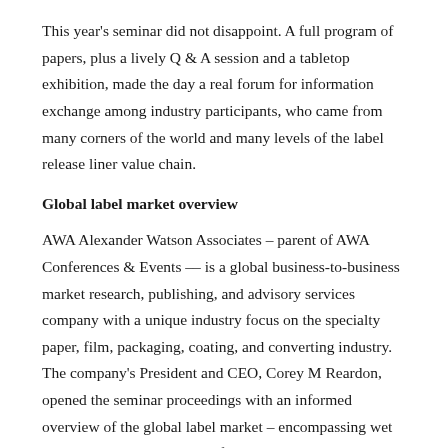This year's seminar did not disappoint. A full program of papers, plus a lively Q & A session and a tabletop exhibition, made the day a real forum for information exchange among industry participants, who came from many corners of the world and many levels of the label release liner value chain.
Global label market overview
AWA Alexander Watson Associates – parent of AWA Conferences & Events –– is a global business-to-business market research, publishing, and advisory services company with a unique industry focus on the specialty paper, film, packaging, coating, and converting industry. The company's President and CEO, Corey M Reardon, opened the seminar proceedings with an informed overview of the global label market – encompassing wet glue, sleeving, in-mold, and flexible packaging as well as the